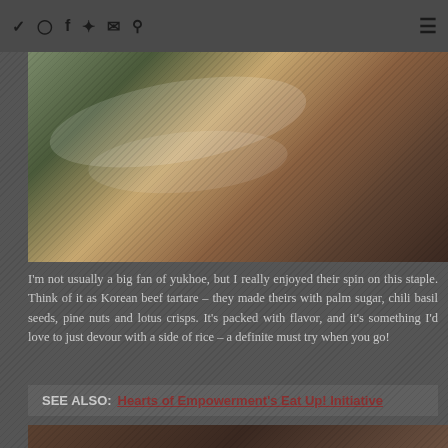Social icons: Twitter, Instagram, Facebook, Pinterest, Email, Search; Hamburger menu
[Figure (photo): Close-up food photo of Korean beef tartare (yukhoe) in white bowls, showing the dish with garnishes]
I’m not usually a big fan of yukhoe, but I really enjoyed their spin on this staple.  Think of it as Korean beef tartare – they made theirs with palm sugar, chili basil seeds, pine nuts and lotus crisps.  It’s packed with flavor, and it’s something I’d love to just devour with a side of rice – a definite must try when you go!
SEE ALSO:  Hearts of Empowerment’s Eat Up! Initiative
[Figure (photo): Partial view of another food photo at the bottom of the page]